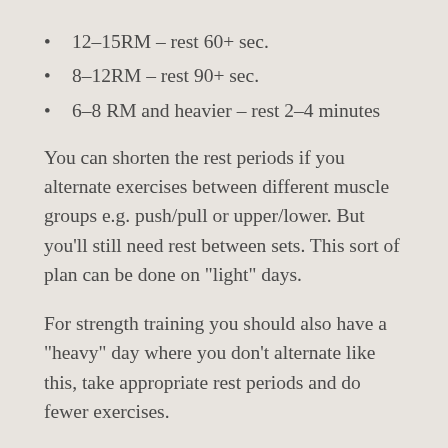12-15RM – rest 60+ sec.
8-12RM – rest 90+ sec.
6-8 RM and heavier – rest 2-4 minutes
You can shorten the rest periods if you alternate exercises between different muscle groups e.g. push/pull or upper/lower. But you'll still need rest between sets. This sort of plan can be done on “light” days.
For strength training you should also have a “heavy” day where you don’t alternate like this, take appropriate rest periods and do fewer exercises.